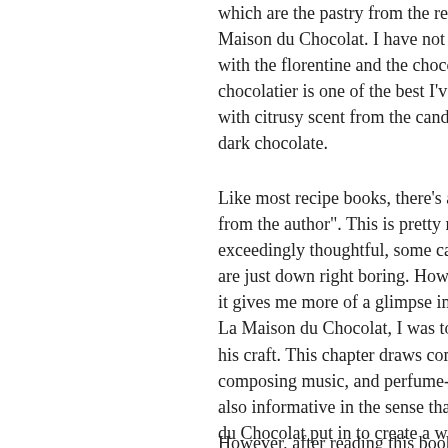which are the pastry from the recipe Maison du Chocolat. I have not yet t with the florentine and the chocolat chocolatier is one of the best I've tas with citrusy scent from the candied dark chocolate.
Like most recipe books, there's a sect from the author". This is pretty much exceedingly thoughtful, some can be are just down right boring. However it gives me more of a glimpse into the La Maison du Chocolat, I was totally his craft. This chapter draws compar composing music, and perfume-mak also informative in the sense that it t du Chocolat put in to create a well-b blending of different cocoa beans fre flavours to the matching of flavour g chocolates that complements the ga
However, after reading this book, I